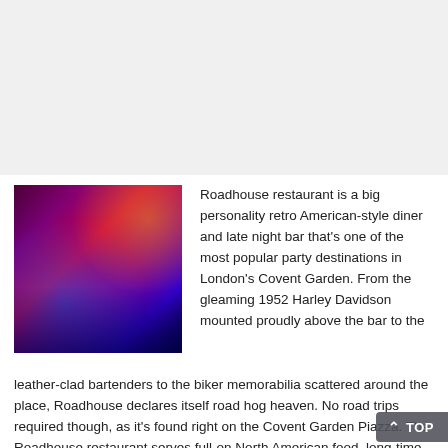[Figure (photo): Interior photo of Roadhouse restaurant showing a retro American diner with blue and purple neon lighting, red booth seating, and a bar area.]
Roadhouse restaurant is a big personality retro American-style diner and late night bar that's one of the most popular party destinations in London's Covent Garden. From the gleaming 1952 Harley Davidson mounted proudly above the bar to the leather-clad bartenders to the biker memorabilia scattered around the place, Roadhouse declares itself road hog heaven. No road trips required though, as it's found right on the Covent Garden Piazza. The Roadhouse restaurant serves full-on North American food, long-time diner favourites like prime beef fajitas, home-smoked baby back ribs and The Famous Route 66